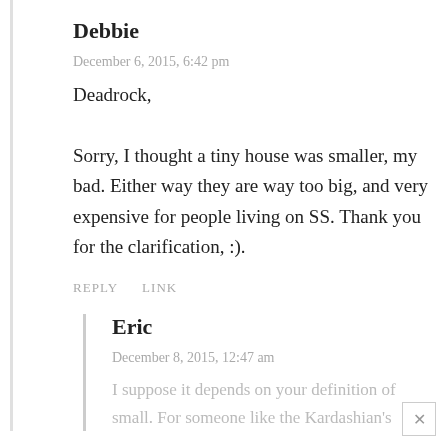Debbie
December 6, 2015, 6:42 pm
Deadrock,

Sorry, I thought a tiny house was smaller, my bad. Either way they are way too big, and very expensive for people living on SS. Thank you for the clarification, :).
REPLY    LINK
Eric
December 8, 2015, 12:47 am
I suppose it depends on your definition of small. For someone like the Kardashian's